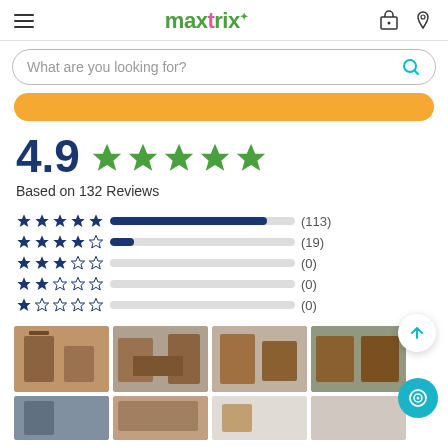maxtrix — navigation header with hamburger menu, logo, cart and location icons
What are you looking for? (search bar)
[Figure (other): Orange rounded button bar (partially visible)]
4.9 ★★★★★
Based on 132 Reviews
[Figure (bar-chart): Review star distribution]
[Figure (photo): Grid of 4 photos showing wooden bunk beds / loft beds in children's rooms]
[Figure (photo): Partial row of more product photos at the bottom of the page]